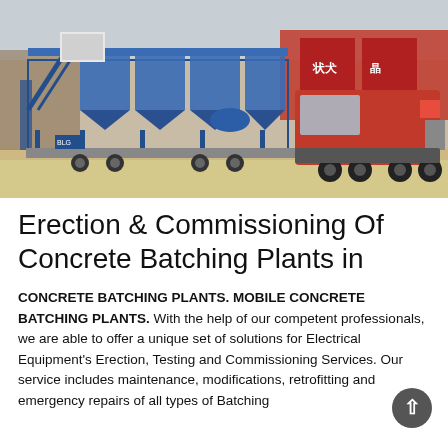[Figure (photo): A blue mobile concrete batching plant mounted on a trailer, being pulled by a red truck, in an industrial yard with Chinese signage in the background.]
Erection & Commissioning Of Concrete Batching Plants in
CONCRETE BATCHING PLANTS. MOBILE CONCRETE BATCHING PLANTS. With the help of our competent professionals, we are able to offer a unique set of solutions for Electrical Equipment's Erection, Testing and Commissioning Services. Our service includes maintenance, modifications, retrofitting and emergency repairs of all types of Batching